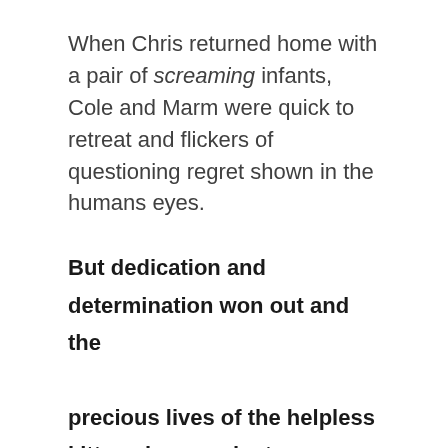When Chris returned home with a pair of screaming infants, Cole and Marm were quick to retreat and flickers of questioning regret shown in the humans eyes.
But dedication and determination won out and the precious lives of the helpless kittens became just as important.
Jessica pulled two filthy kittens from the carrier, eyes partially crusted shut and fleas